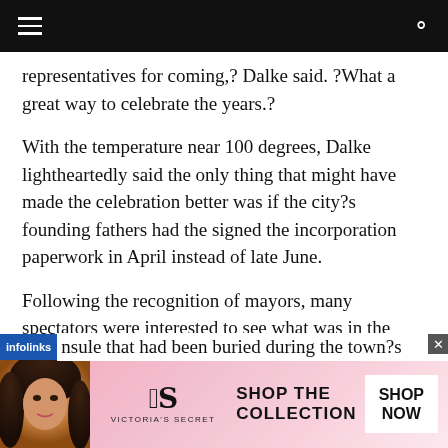[navigation bar with hamburger menu and search icon]
representatives for coming,? Dalke said. ?What a great way to celebrate the years.?
With the temperature near 100 degrees, Dalke lightheartedly said the only thing that might have made the celebration better was if the city?s founding fathers had the signed the incorporation paperwork in April instead of late June.
Following the recognition of mayors, many spectators were interested to see what was in the
infolinks  nsule that had been buried during the town?s
[Figure (photo): Victoria's Secret advertisement banner with a model, VS logo, and 'SHOP THE COLLECTION / SHOP NOW' text]